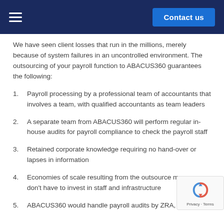Contact us
We have seen client losses that run in the millions, merely because of system failures in an uncontrolled environment. The outsourcing of your payroll function to ABACUS360 guarantees the following:
1. Payroll processing by a professional team of accountants that involves a team, with qualified accountants as team leaders
2. A separate team from ABACUS360 will perform regular in-house audits for payroll compliance to check the payroll staff
3. Retained corporate knowledge requiring no hand-over or lapses in information
4. Economies of scale resulting from the outsource mean you don't have to invest in staff and infrastructure
5. ABACUS360 would handle payroll audits by ZRA, NAPSA,